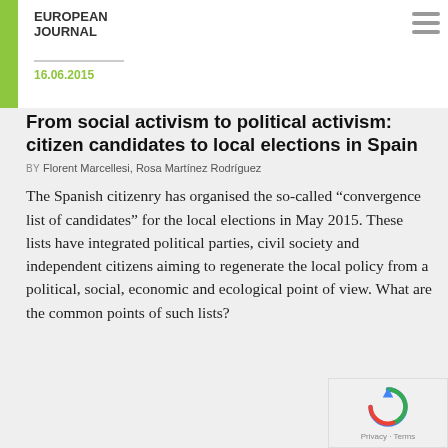EUROPEAN JOURNAL
16.06.2015
From social activism to political activism: citizen candidates to local elections in Spain
BY Florent Marcellesi, Rosa Martínez Rodríguez
The Spanish citizenry has organised the so-called “convergence list of candidates” for the local elections in May 2015. These lists have integrated political parties, civil society and independent citizens aiming to regenerate the local policy from a political, social, economic and ecological point of view. What are the common points of such lists?
10.02.2015
‘The main victims in the fight to reach peace are young people.’